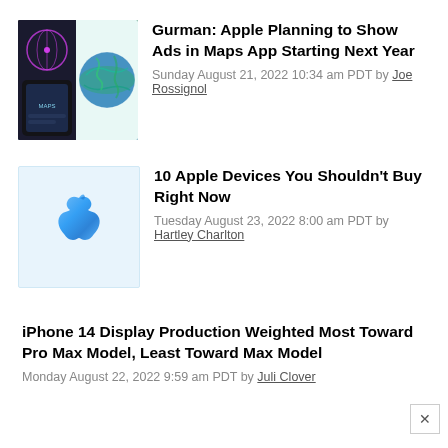[Figure (photo): Two iPhones side by side showing Maps and a globe/earth display]
Gurman: Apple Planning to Show Ads in Maps App Starting Next Year
Sunday August 21, 2022 10:34 am PDT by Joe Rossignol
[Figure (logo): Apple logo ribbon in blue on light blue background]
10 Apple Devices You Shouldn't Buy Right Now
Tuesday August 23, 2022 8:00 am PDT by Hartley Charlton
iPhone 14 Display Production Weighted Most Toward Pro Max Model, Least Toward Max Model
Monday August 22, 2022 9:59 am PDT by Juli Clover